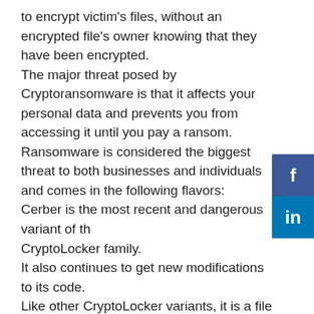to encrypt victim's files, without an encrypted file's owner knowing that they have been encrypted. The major threat posed by Cryptoransomware is that it affects your personal data and prevents you from accessing it until you pay a ransom. Ransomware is considered the biggest threat to both businesses and individuals and comes in the following flavors: Cerber is the most recent and dangerous variant of the CryptoLocker family. It also continues to get new modifications to its code. Like other CryptoLocker variants, it is a file encryptor ransomware. Ransom32 targets the 32-bit versions of Windows, Ransom32 Windows 10 Ransom32 Mac is used to encrypt the files on Mac computers. Its Mac ransomware is in most cases based on Ransom32 Windows malware.